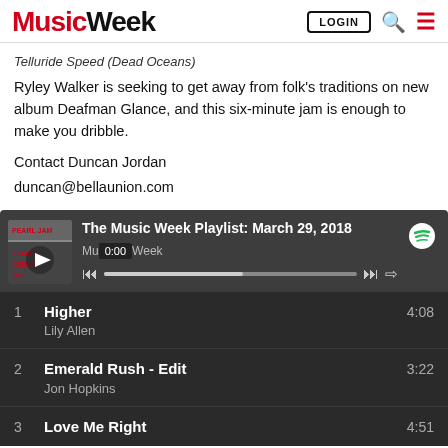Music Week | LOGIN
Telluride Speed (Dead Oceans)
Ryley Walker is seeking to get away from folk's traditions on new album Deafman Glance, and this six-minute jam is enough to make you dribble.
Contact Duncan Jordan
duncan@bellaunion.com
[Figure (screenshot): Spotify embedded player showing 'The Music Week Playlist: March 29, 2018' by Music Week at 0:00 with playlist tracks: 1. Higher - Lily Allen 4:08, 2. Emerald Rush - Edit - Jon Hopkins 3:22, 3. Love Me Right - 4:51]